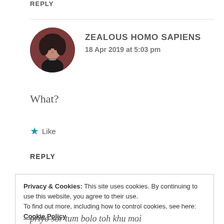REPLY
[Figure (photo): Circular avatar image of a person with dark hair against a reddish-brown background]
ZEALOUS HOMO SAPIENS
18 Apr 2019 at 5:03 pm
What?
★ Like
REPLY
Privacy & Cookies: This site uses cookies. By continuing to use this website, you agree to their use.
To find out more, including how to control cookies, see here: Cookie Policy
Close and accept
priyo sor tum bolo toh khu moi